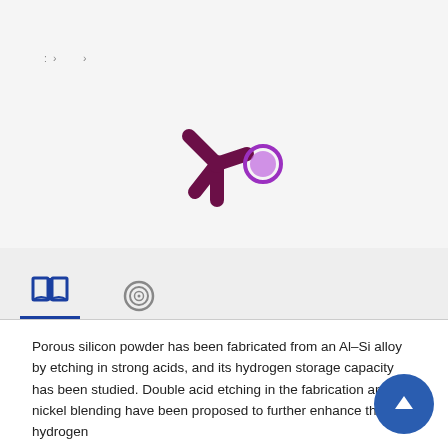[Figure (logo): Altmetric-style logo: dark magenta asterisk/snowflake shape with a purple/pink circle accent on a light gray background]
[Figure (other): Tab bar with book icon (active, underlined in blue) and spiral/swirl icon]
Porous silicon powder has been fabricated from an Al–Si alloy by etching in strong acids, and its hydrogen storage capacity has been studied. Double acid etching in the fabrication and nickel blending have been proposed to further enhance the hydrogen